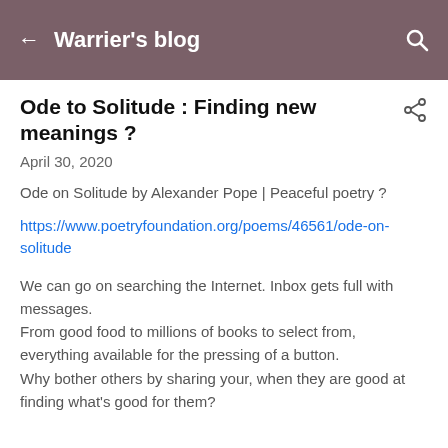Warrier's blog
Ode to Solitude : Finding new meanings ?
April 30, 2020
Ode on Solitude by Alexander Pope | Peaceful poetry ?
https://www.poetryfoundation.org/poems/46561/ode-on-solitude
We can go on searching the Internet. Inbox gets full with messages.
From good food to millions of books to select from, everything available for the pressing of a button.
Why bother others by sharing your, when they are good at finding what's good for them?